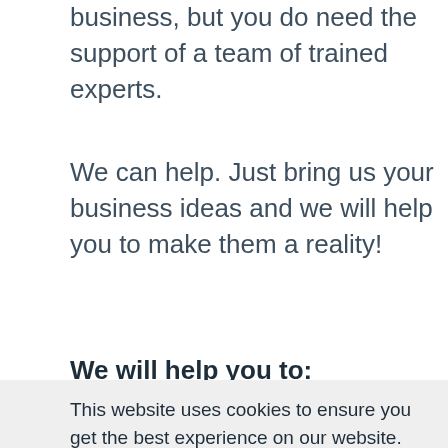business, but you do need the support of a team of trained experts.
We can help. Just bring us your business ideas and we will help you to make them a reality!
We will help you to:
This website uses cookies to ensure you get the best experience on our website.
Learn more
Got it!
projections, budgets, and trading